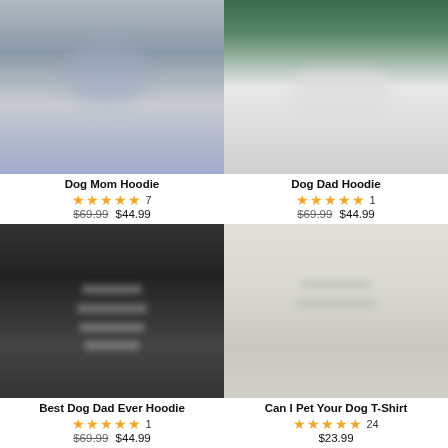[Figure (photo): Product photo of Dog Mom Hoodie - person wearing dark hoodie, cropped]
Dog Mom Hoodie
★★★★★ 7
$69.99 $44.99
[Figure (photo): Product photo of Dog Dad Hoodie - person wearing hoodie, green background]
Dog Dad Hoodie
★★★★★ 1
$69.99 $44.99
[Figure (photo): Product photo of Best Dog Dad Ever Hoodie - dark black hoodie with blurred text]
Best Dog Dad Ever Hoodie
★★★★★ 1
$69.99 $44.99
[Figure (photo): Product photo of Can I Pet Your Dog T-Shirt - light colored shirt with blurred text]
Can I Pet Your Dog T-Shirt
★★★★★ 24
$23.99